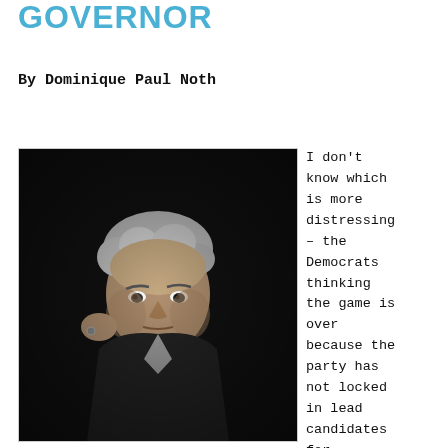GOVERNOR
By Dominique Paul Noth
[Figure (photo): Black and white portrait photograph of a man in a dark suit, with light curly hair, looking intensely at the camera, with one hand raised to his chest.]
I don’t know which is more distressing – the Democrats thinking the game is over because the party has not locked in lead candidates for